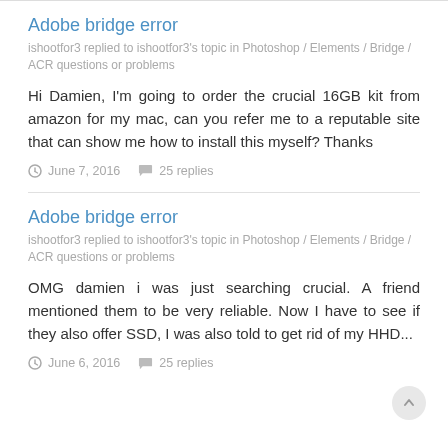Adobe bridge error
ishootfor3 replied to ishootfor3's topic in Photoshop / Elements / Bridge / ACR questions or problems
Hi Damien, I'm going to order the crucial 16GB kit from amazon for my mac, can you refer me to a reputable site that can show me how to install this myself? Thanks
June 7, 2016   25 replies
Adobe bridge error
ishootfor3 replied to ishootfor3's topic in Photoshop / Elements / Bridge / ACR questions or problems
OMG damien i was just searching crucial. A friend mentioned them to be very reliable. Now I have to see if they also offer SSD, I was also told to get rid of my HHD...
June 6, 2016   25 replies